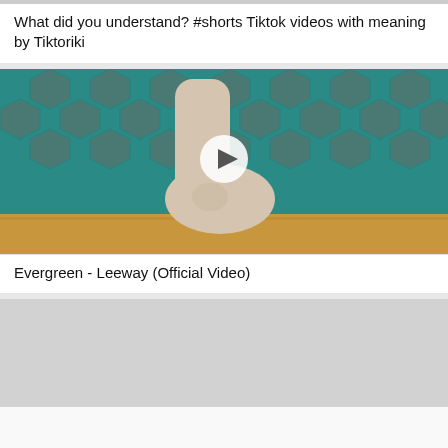What did you understand? #shorts Tiktok videos with meaning by Tiktoriki
[Figure (screenshot): Video thumbnail showing a pale clay or plaster sculpture of a human head/face lying on a sandy surface, with a teal geometric patterned background. A white circular play button is overlaid in the center.]
Evergreen - Leeway (Official Video)
[Figure (screenshot): Second video thumbnail, mostly light gray/blank.]